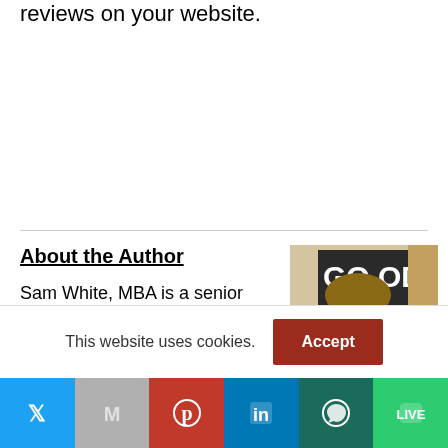reviews on your website.
About the Author
[Figure (photo): Photo of Sam White, MBA — a bearded man with glasses wearing a blue plaid shirt, standing in front of a sign that reads 'GOOD vi...']
Sam White, MBA is a senior account manager and search engine optimizer for New Dimension, a digital marketing agency located in San Diego, CA. Over his career,
This website uses cookies.
Accept
[Figure (infographic): Social sharing bar with icons for Twitter, Gmail, Pinterest, LinkedIn, WhatsApp, and LINE]